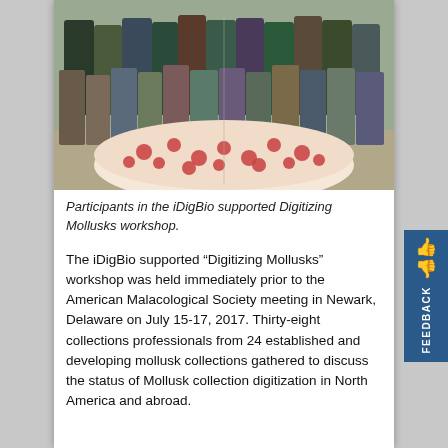[Figure (photo): Group photo of participants in the iDigBio supported Digitizing Mollusks workshop, standing and seated in rows indoors, with a patterned round table/ottoman in the foreground.]
Participants in the iDigBio supported Digitizing Mollusks workshop.
The iDigBio supported “Digitizing Mollusks” workshop was held immediately prior to the American Malacological Society meeting in Newark, Delaware on July 15-17, 2017. Thirty-eight collections professionals from 24 established and developing mollusk collections gathered to discuss the status of Mollusk collection digitization in North America and abroad.